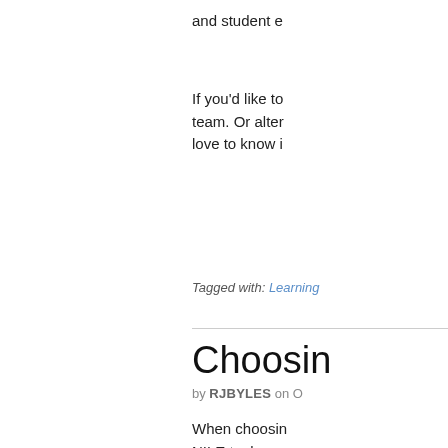and student e
If you'd like to team. Or alter love to know i
Tagged with: Learning
Choosin
by RJBYLES on O
When choosin NILE tools ca